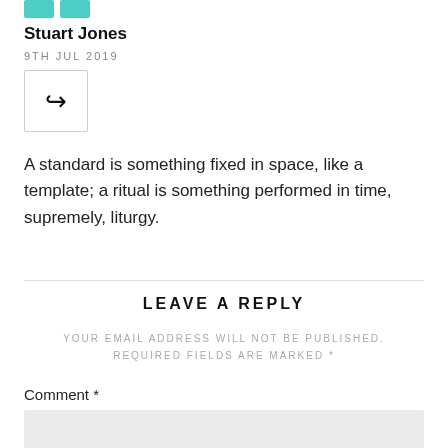[Figure (illustration): Two teal/green icon blocks at top]
Stuart Jones
9TH JUL 2019
[Figure (other): Reply button with arrow icon in a bordered box]
A standard is something fixed in space, like a template; a ritual is something performed in time, supremely, liturgy.
LEAVE A REPLY
YOUR EMAIL ADDRESS WILL NOT BE PUBLISHED. REQUIRED FIELDS ARE MARKED *
Comment *